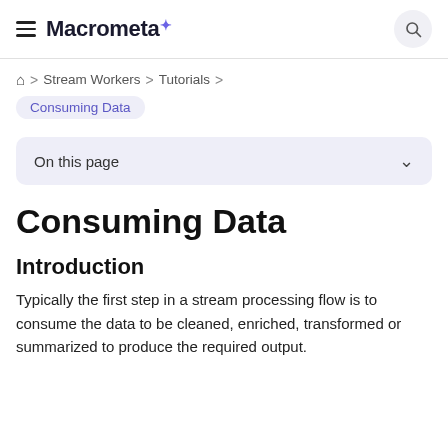Macrometa
Home > Stream Workers > Tutorials > Consuming Data
On this page
Consuming Data
Introduction
Typically the first step in a stream processing flow is to consume the data to be cleaned, enriched, transformed or summarized to produce the required output.